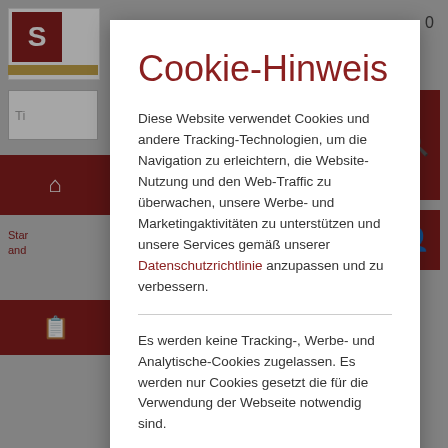[Figure (screenshot): Background of a German website with dark overlay showing logo, navigation bar, search field, and icon buttons partially visible]
Cookie-Hinweis
Diese Website verwendet Cookies und andere Tracking-Technologien, um die Navigation zu erleichtern, die Website-Nutzung und den Web-Traffic zu überwachen, unsere Werbe- und Marketingaktivitäten zu unterstützen und unsere Services gemäß unserer Datenschutzrichtlinie anzupassen und zu verbessern.
Es werden keine Tracking-, Werbe- und Analytische-Cookies zugelassen. Es werden nur Cookies gesetzt die für die Verwendung der Webseite notwendig sind.
NOTWENDIGE COOKIES ZULASSEN